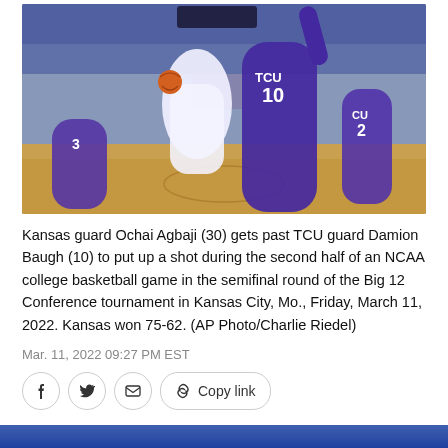[Figure (photo): Basketball game photo showing Kansas guard Ochai Agbaji (30) in white uniform driving past TCU players in purple uniforms including Damion Baugh (10) during an NCAA college basketball game. Players are on a hardwood court with a packed arena in the background.]
Kansas guard Ochai Agbaji (30) gets past TCU guard Damion Baugh (10) to put up a shot during the second half of an NCAA college basketball game in the semifinal round of the Big 12 Conference tournament in Kansas City, Mo., Friday, March 11, 2022. Kansas won 75-62. (AP Photo/Charlie Riedel)
Mar. 11, 2022 09:27 PM EST
[Figure (screenshot): Social share buttons row: Facebook, Twitter, Email icons in circular borders, and a Copy link button with chain icon]
[Figure (photo): Partial photo visible at the bottom of the page, appears to be another basketball game photo]